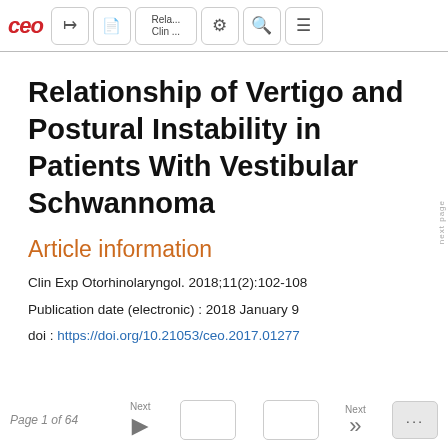[Figure (screenshot): Application toolbar with CEO logo, share/export buttons, related articles label, settings, search, and menu icons]
Relationship of Vertigo and Postural Instability in Patients With Vestibular Schwannoma
Article information
Clin Exp Otorhinolaryngol. 2018;11(2):102-108
Publication date (electronic) : 2018 January 9
doi : https://doi.org/10.21053/ceo.2017.01277
Page 1 of 64